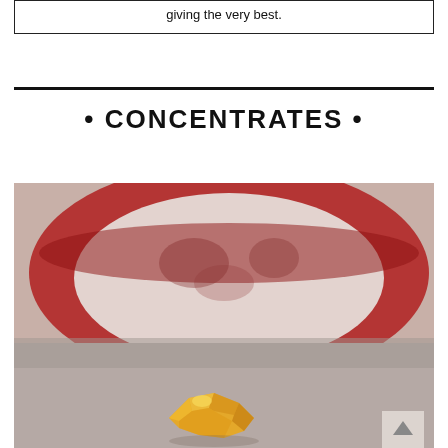giving the very best.
• CONCENTRATES •
[Figure (photo): Blurred close-up photo showing a red and white bowl or container in the background, with a piece of golden/amber colored cannabis concentrate (wax/shatter) in the foreground on a gray surface.]